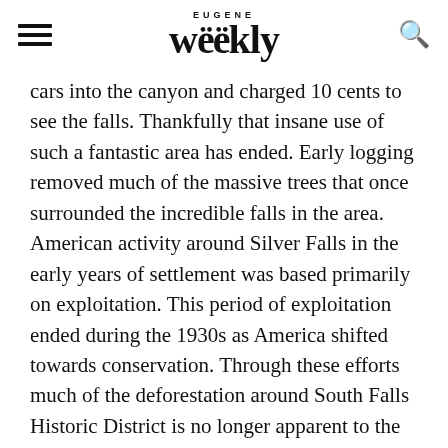EUGENE Weekly
cars into the canyon and charged 10 cents to see the falls. Thankfully that insane use of such a fantastic area has ended. Early logging removed much of the massive trees that once surrounded the incredible falls in the area. American activity around Silver Falls in the early years of settlement was based primarily on exploitation. This period of exploitation ended during the 1930s as America shifted towards conservation. Through these efforts much of the deforestation around South Falls Historic District is no longer apparent to the majority of visitors. Silver Falls State Park is a